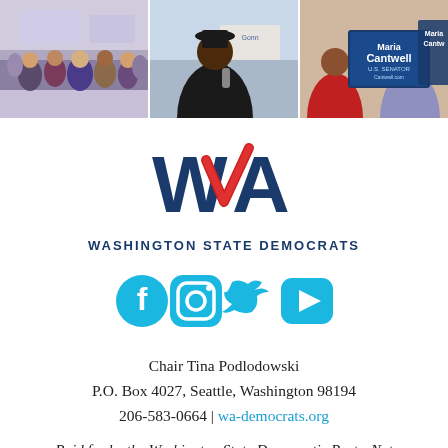[Figure (photo): Three-panel photo strip showing Democratic political events: left panel shows a crowd cheering indoors, center panel shows a woman speaking/singing at a campaign event, right panel shows supporters holding Maria Cantwell U.S. Senator signs.]
[Figure (logo): Washington State Democrats logo: stylized WA letters with a red checkmark/swoosh, text 'WASHINGTON STATE DEMOCRATS' below in navy blue.]
[Figure (infographic): Four social media icons in cyan/teal: Facebook, Instagram, Twitter, YouTube]
Chair Tina Podlodowski
P.O. Box 4027, Seattle, Washington 98194
206-583-0664 | wa-democrats.org
Paid for by the Washington State Democratic Party. Not